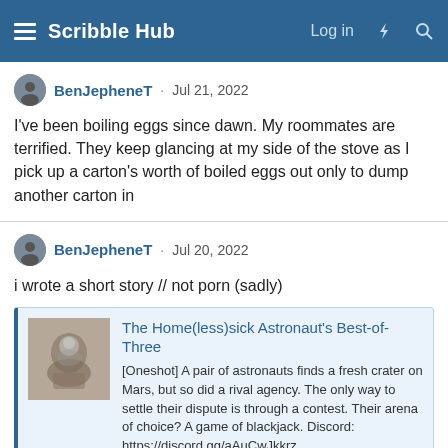Scribble Hub — Log in
BenJepheneT · Jul 21, 2022
I've been boiling eggs since dawn. My roommates are terrified. They keep glancing at my side of the stove as I pick up a carton's worth of boiled eggs out only to dump another carton in
BenJepheneT · Jul 20, 2022
i wrote a short story // not porn (sadly)
[Figure (screenshot): Link preview card for 'The Home(less)sick Astronaut's Best-of-Three' on scribblehub.com. Shows a thumbnail image of an astronaut illustration, the story title in blue, a description about astronauts finding a crater on Mars and settling a dispute via blackjack, and a Discord link.]
BenJepheneT · Jul 19, 2022
I do not like slow people. They retarded as hell. I like fast